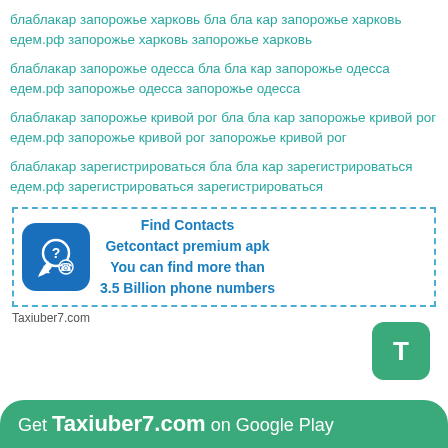блаблакар запорожье харковь бла бла кар запорожье харковь едем.рф запорожье харковь запорожье харковь
блаблакар запорожье одесса бла бла кар запорожье одесса едем.рф запорожье одесса запорожье одесса
блаблакар запорожье кривой рог бла бла кар запорожье кривой рог едем.рф запорожье кривой рог запорожье кривой рог
блаблакар зарегистрироваться бла бла кар зарегистрироваться едем.рф зарегистрироваться зарегистрироваться
[Figure (infographic): Ad box with dashed blue border containing a blue phone icon and text: Find Contacts, Getcontact premium apk, You can find more than 3.5 Billion phone numbers]
Taxiuber7.com
[Figure (infographic): Green rounded square button with white letter T]
Get Taxiuber7.com on Google Play